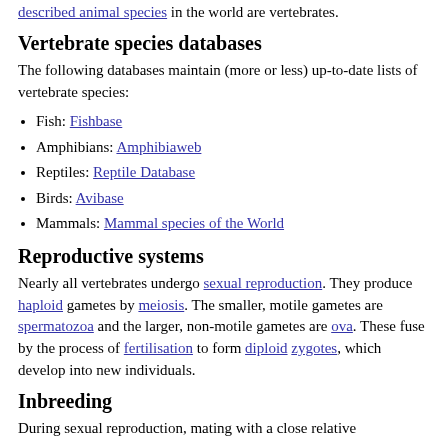described animal species in the world are vertebrates.
Vertebrate species databases
The following databases maintain (more or less) up-to-date lists of vertebrate species:
Fish: Fishbase
Amphibians: Amphibiaweb
Reptiles: Reptile Database
Birds: Avibase
Mammals: Mammal species of the World
Reproductive systems
Nearly all vertebrates undergo sexual reproduction. They produce haploid gametes by meiosis. The smaller, motile gametes are spermatozoa and the larger, non-motile gametes are ova. These fuse by the process of fertilisation to form diploid zygotes, which develop into new individuals.
Inbreeding
During sexual reproduction, mating with a close relative